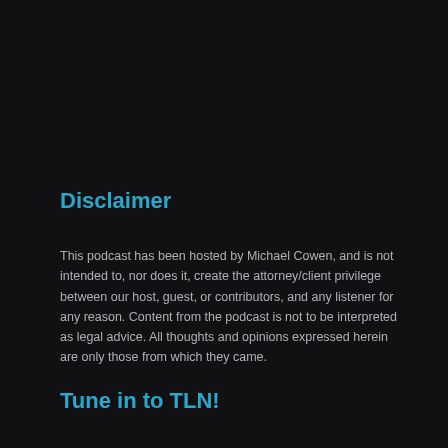Disclaimer
This podcast has been hosted by Michael Cowen, and is not intended to, nor does it, create the attorney/client privilege between our host, guest, or contributors, and any listener for any reason. Content from the podcast is not to be interpreted as legal advice. All thoughts and opinions expressed herein are only those from which they came.
Tune in to TLN!